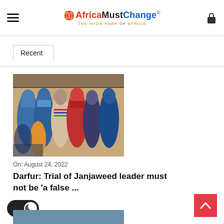AfricaMustChange® — THE HYDE PARK OF AFRICA
Recent
[Figure (photo): Group of women in colorful hijabs and robes standing in a line, likely in a humanitarian aid distribution context in Darfur]
On: August 24, 2022
Darfur: Trial of Janjaweed leader must not be 'a false ...
[Figure (screenshot): Dark mode toggle switch (dark/on state) at bottom left]